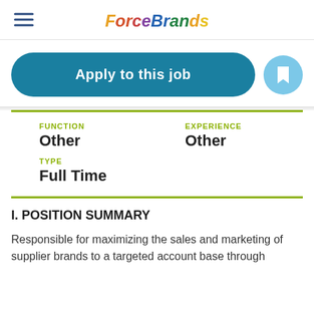ForceBrands
Apply to this job
| FUNCTION | EXPERIENCE |
| --- | --- |
| Other | Other |
TYPE
Full Time
I. POSITION SUMMARY
Responsible for maximizing the sales and marketing of supplier brands to a targeted account base through